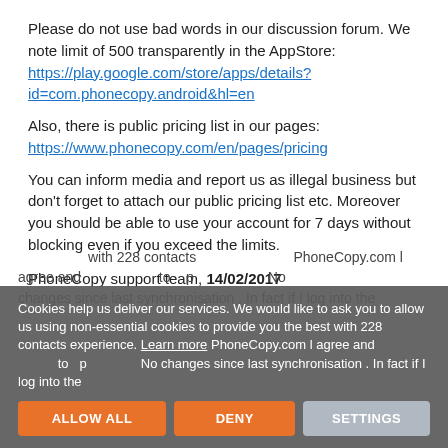Please do not use bad words in our discussion forum. We note limit of 500 transparently in the AppStore: https://play.google.com/store/apps/details?id=com.phonecopy.android&hl=en
Also, there is public pricing list in our pages: https://www.phonecopy.com/en/pages/pricing
You can inform media and report us as illegal business but don't forget to attach our public pricing list etc. Moreover you should be able to use your account for 7 days without blocking even if you exceed the limits.
PhoneCopy support team, 14/02/2017
Cookies help us deliver our services. We would like to ask you to allow us using non-essential cookies to provide you the best with 228 contacts experience. Learn more PhoneCopy.com I agree and to p. No changes since last synchronisation . In fact if I log into the
ALLOW ALL | DENY | SETTINGS